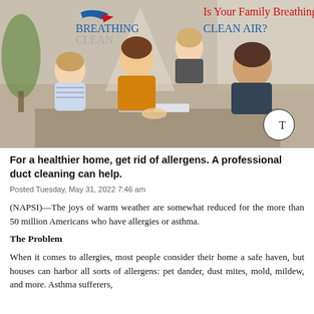[Figure (photo): A promotional image showing a family (mother, father, and two young children) lying on the floor reading a book together. The image includes the 'Breathing Clean' logo in the upper left and the headline 'Is Your Family Breathing CLEAN AIR?' in the upper right. A watermark T-circle icon is visible in the lower right.]
For a healthier home, get rid of allergens. A professional duct cleaning can help.
Posted Tuesday, May 31, 2022 7:46 am
(NAPSI)—The joys of warm weather are somewhat reduced for the more than 50 million Americans who have allergies or asthma.
The Problem
When it comes to allergies, most people consider their home a safe haven, but houses can harbor all sorts of allergens: pet dander, dust mites, mold, mildew, and more. Asthma sufferers,